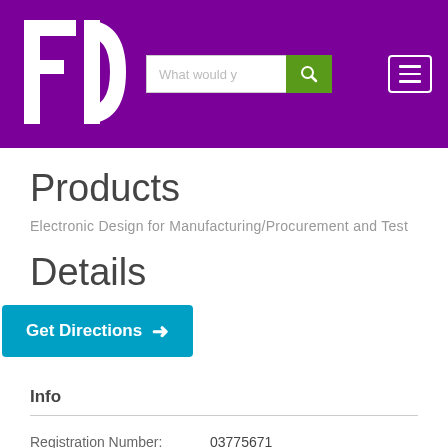[Figure (logo): FD logo in white on purple background]
Products
Electronic Design for Manufacturing/Procurement and Test
Details
Get Directions →
Info
| Registration Number: | 03775671 |